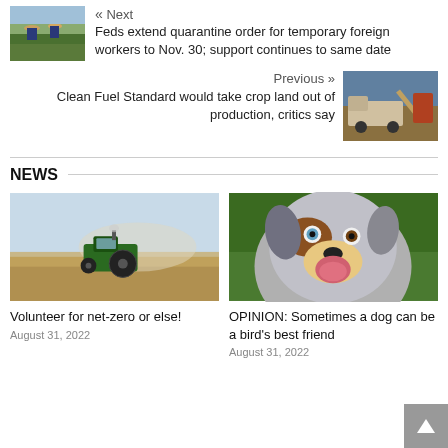« Next
Feds extend quarantine order for temporary foreign workers to Nov. 30; support continues to same date
[Figure (photo): Workers in a field wearing hats, harvesting crops]
Previous »
Clean Fuel Standard would take crop land out of production, critics say
[Figure (photo): Large truck/harvesting equipment in a field]
NEWS
[Figure (photo): Tractor working in a field with dust/smoke]
Volunteer for net-zero or else!
August 31, 2022
[Figure (photo): Australian Shepherd dog smiling with tongue out]
OPINION: Sometimes a dog can be a bird's best friend
August 31, 2022